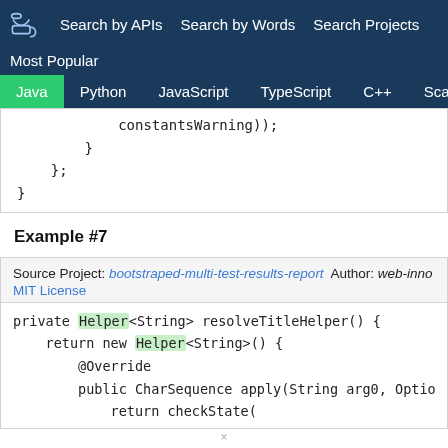Search by APIs  Search by Words  Search Projects  Most Popular
Java  Python  JavaScript  TypeScript  C++  Scala
constantsWarming));
        }
    };
}
Example #7
Source Project: bootstraped-multi-test-results-report  Author: web-inno  MIT License
private Helper<String> resolveTitleHelper() {
    return new Helper<String>() {
        @Override
        public CharSequence apply(String arg0, Optio
            return checkState(